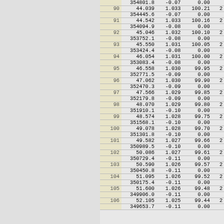| row | val1 | val2 | val3 | val4 |
| --- | --- | --- | --- | --- |
|  | 354801.8 | -0.07 | 0.00 |  |
| 90 | 44.039 | 1.033 | 100.21 | 2 |
|  | 354445.6 | -0.07 | 0.00 |  |
| 91 | 44.542 | 1.033 | 100.16 | 2 |
|  | 354094.9 | -0.08 | 0.00 |  |
| 92 | 45.046 | 1.032 | 100.10 | 2 |
|  | 353752.1 | -0.08 | 0.00 |  |
| 93 | 45.550 | 1.031 | 100.05 | 2 |
|  | 353424.4 | -0.08 | 0.00 |  |
| 94 | 46.054 | 1.031 | 100.00 | 2 |
|  | 353083.4 | -0.08 | 0.00 |  |
| 95 | 46.558 | 1.030 | 99.95 | 2 |
|  | 352771.5 | -0.09 | 0.00 |  |
| 96 | 47.062 | 1.030 | 99.90 | 2 |
|  | 352470.3 | -0.09 | 0.00 |  |
| 97 | 47.566 | 1.029 | 99.85 | 2 |
|  | 352179.8 | -0.09 | 0.00 |  |
| 98 | 48.070 | 1.029 | 99.80 | 2 |
|  | 351910.1 | -0.10 | 0.00 |  |
| 99 | 48.574 | 1.028 | 99.75 | 2 |
|  | 351568.1 | -0.10 | 0.00 |  |
| 100 | 49.078 | 1.028 | 99.70 | 2 |
|  | 351301.8 | -0.10 | 0.00 |  |
| 101 | 49.582 | 1.027 | 99.66 | 2 |
|  | 350989.5 | -0.10 | 0.00 |  |
| 102 | 50.086 | 1.027 | 99.61 | 2 |
|  | 350729.4 | -0.11 | 0.00 |  |
| 103 | 50.590 | 1.026 | 99.57 | 2 |
|  | 350450.8 | -0.11 | 0.00 |  |
| 104 | 51.095 | 1.026 | 99.52 | 2 |
|  | 350175.4 | -0.11 | 0.00 |  |
| 105 | 51.600 | 1.026 | 99.48 | 2 |
|  | 349906.0 | -0.11 | 0.00 |  |
| 106 | 52.105 | 1.025 | 99.44 | 2 |
|  | 349653.7 | -0.11 | 0.00 |  |